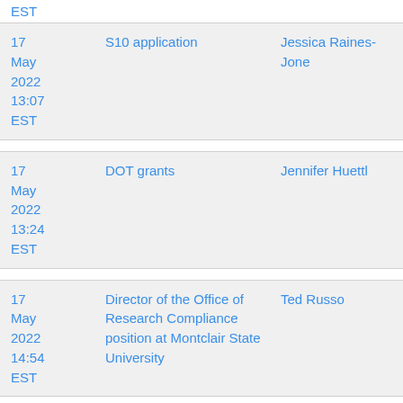EST
| Date | Subject | Person |
| --- | --- | --- |
| 17 May 2022 13:07 EST | S10 application | Jessica Raines-Jones |
| 17 May 2022 13:24 EST | DOT grants | Jennifer Huettl |
| 17 May 2022 14:54 EST | Director of the Office of Research Compliance position at Montclair State University | Ted Russo |